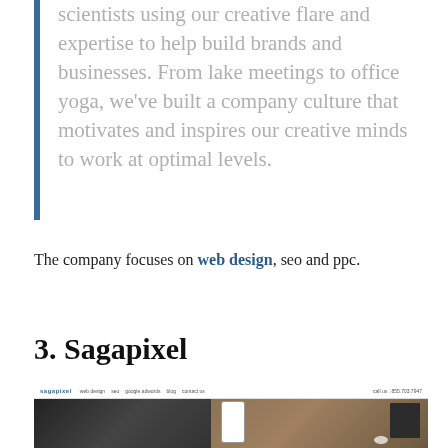scientists using our creative flare and expertise to help build brands and businesses. From lake meetings to office yoga, we've built a company culture that motivates and inspires our creative minds to work at optimal levels.
The company focuses on web design, seo and ppc.
3. Sagapixel
[Figure (screenshot): Screenshot of the Sagapixel website showing a navigation bar with logo and links (web design, seo, google adwords, blog, contact us, call us: 855.703.7947), with a background image of a smartphone, laptop keyboard, and notebook on a wooden desk.]